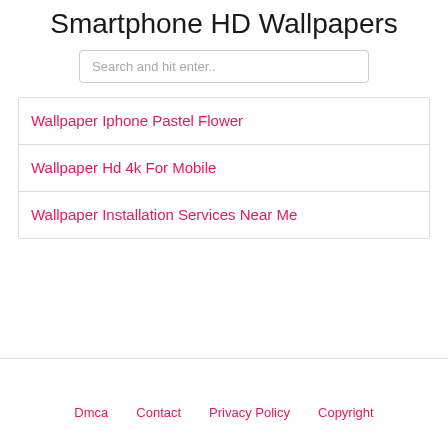Smartphone HD Wallpapers
Search and hit enter..
Wallpaper Iphone Pastel Flower
Wallpaper Hd 4k For Mobile
Wallpaper Installation Services Near Me
Dmca   Contact   Privacy Policy   Copyright